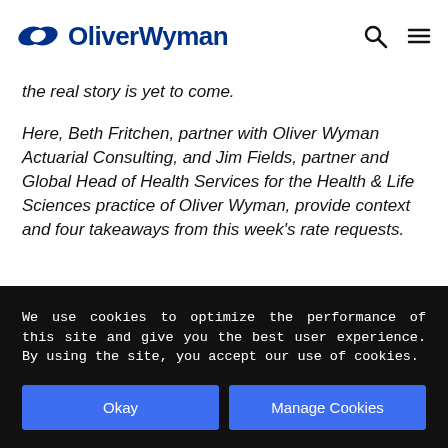OliverWyman
the real story is yet to come.
Here, Beth Fritchen, partner with Oliver Wyman Actuarial Consulting, and Jim Fields, partner and Global Head of Health Services for the Health & Life Sciences practice of Oliver Wyman, provide context and four takeaways from this week's rate requests.
We use cookies to optimize the performance of this site and give you the best user experience. By using the site, you accept our use of cookies.
Okay
Manage Cookies